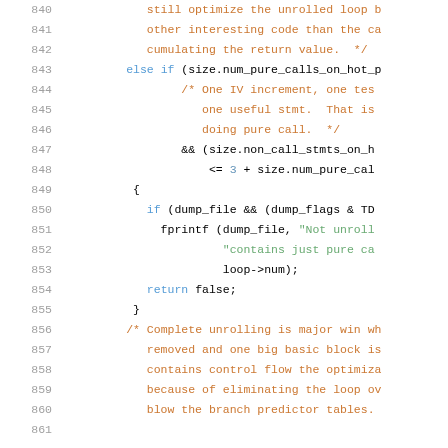[Figure (screenshot): Source code listing showing lines 840-861 of a C/C++ file with syntax highlighting. Line numbers in gray on left, code in black, keywords in blue, comments in orange/brown, strings in green, numbers in blue-green.]